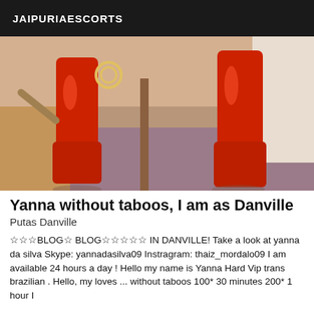JAIPURIAESCORTS
[Figure (photo): Photo showing legs in red latex thigh-high boots on a carpet floor]
Yanna without taboos, I am as Danville
Putas Danville
☆☆☆BLOG☆ BLOG☆☆☆☆☆ IN DANVILLE! Take a look at yanna da silva Skype: yannadasilva09 Instragram: thaiz_mordalo09 I am available 24 hours a day ! Hello my name is Yanna Hard Vip trans brazilian . Hello, my loves ... without taboos 100* 30 minutes 200* 1 hour I